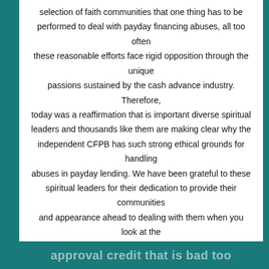selection of faith communities that one thing has to be performed to deal with payday financing abuses, all too often these reasonable efforts face rigid opposition through the unique passions sustained by the cash advance industry. Therefore, today was a reaffirmation that is important diverse spiritual leaders and thousands like them are making clear why the independent CFPB has such strong ethical grounds for handling abuses in payday lending. We have been grateful to these spiritual leaders for their dedication to provide their communities and appearance ahead to dealing with them when you look at the times ahead.
ïðò
approval credit that is bad too